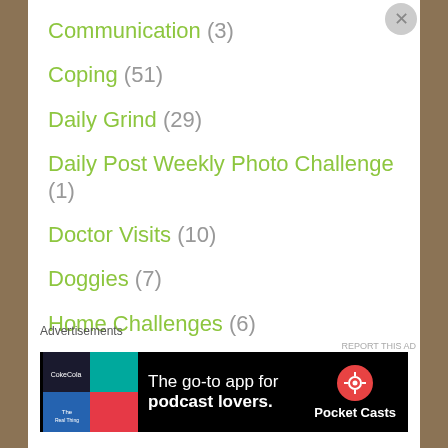Communication (3)
Coping (51)
Daily Grind (29)
Daily Post Weekly Photo Challenge (1)
Doctor Visits (10)
Doggies (7)
Home Challenges (6)
Hurricane Harvey (1)
Lyme disease Symptoms (21)
memories (2)
Advertisements
[Figure (screenshot): Pocket Casts advertisement: The go-to app for podcast lovers.]